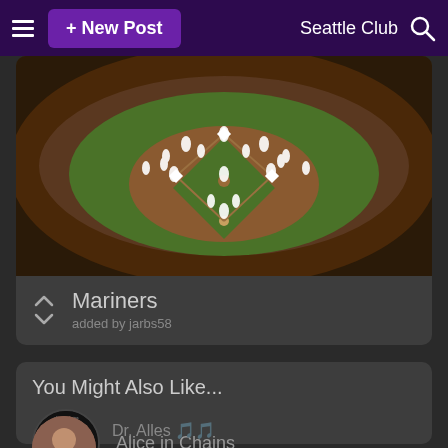+ New Post   Seattle Club
[Figure (photo): Aerial view of a baseball stadium/field with players visible, composite image showing Mariners players]
Mariners
added by jarbs58
You Might Also Like...
Alice in Chains
The Guys Of Grey's Anatomy
Dr. Alles [???] [???]